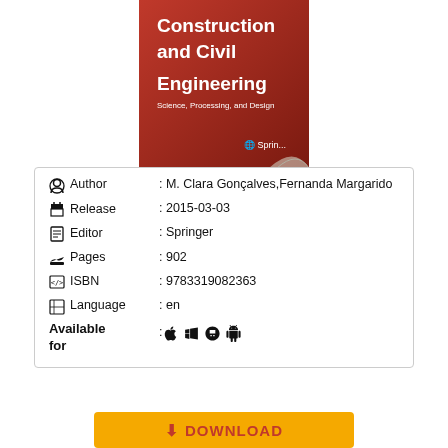[Figure (illustration): Book cover of a Springer publication titled 'Construction and Civil Engineering: Science, Processing, and Design' with a red background and Springer logo. The top portion of the cover is visible, showing the title text in white and the subtitle in smaller text.]
| Author | : M. Clara Gonçalves,Fernanda Margarido |
| Release | : 2015-03-03 |
| Editor | : Springer |
| Pages | : 902 |
| ISBN | : 9783319082363 |
| Language | : en |
| Available for | : 🍎 🪟 🐧 🤖 |
DOWNLOAD